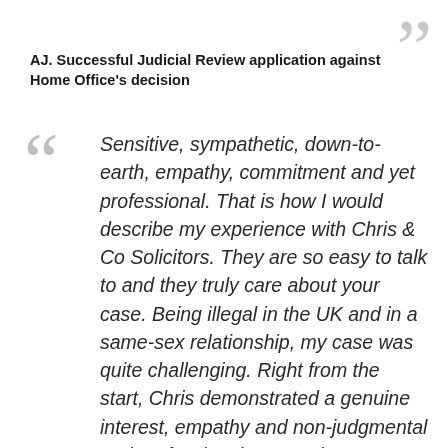AJ. Successful Judicial Review application against Home Office's decision
Sensitive, sympathetic, down-to-earth, empathy, commitment and yet professional. That is how I would describe my experience with Chris & Co Solicitors. They are so easy to talk to and they truly care about your case. Being illegal in the UK and in a same-sex relationship, my case was quite challenging. Right from the start, Chris demonstrated a genuine interest, empathy and non-judgmental and professional approach to my case throughout until successful completion. I will definitely recommend them to anyone who is in need of high quality legal